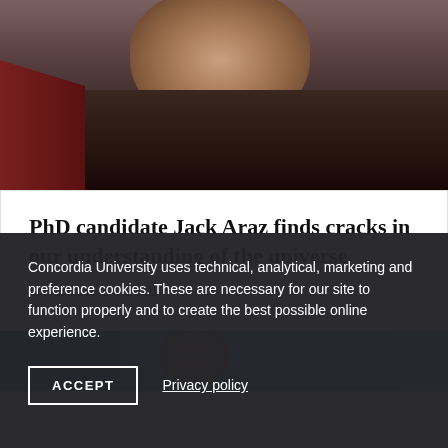[Figure (photo): Close-up photograph of a person with dark beard wearing a dark scarf/wrap, with a red garment visible on the left side]
PhD candidate Jack Araz finds cracks in our understanding of the universe
November 14, 2018
[Figure (photo): Partial view of a teal/green background with a circular object, possibly a coffee cup]
Concordia University uses technical, analytical, marketing and preference cookies. These are necessary for our site to function properly and to create the best possible online experience.
ACCEPT
Privacy policy